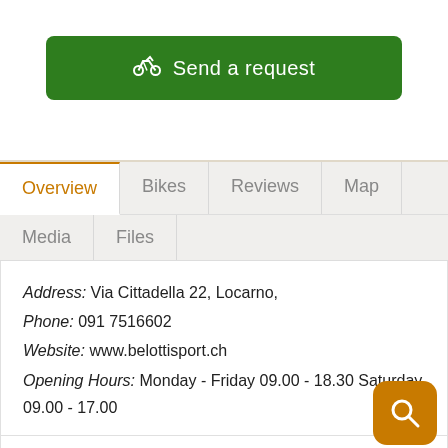[Figure (other): Green button with bicycle icon and text 'Send a request']
Overview | Bikes | Reviews | Map | Media | Files
Address: Via Cittadella 22, Locarno,
Phone: 091 7516602
Website: www.belottisport.ch
Opening Hours: Monday - Friday 09.00 - 18.30 Saturday 09.00 - 17.00
Sunday closed. You can deliver the bicycles on